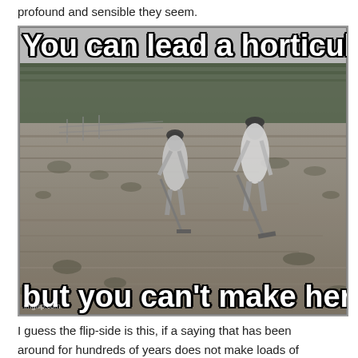profound and sensible they seem.
[Figure (photo): Black and white vintage photograph of two women in dresses working in a garden field with hoes, with trees in the background. Overlaid with meme text: top reads 'You can lead a horticulture' and bottom reads 'but you can’t make her think'. Watermark: imgflip.com]
I guess the flip-side is this, if a saying that has been around for hundreds of years does not make loads of